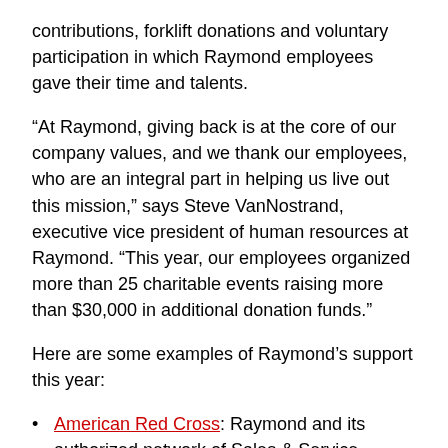contributions, forklift donations and voluntary participation in which Raymond employees gave their time and talents.
“At Raymond, giving back is at the core of our company values, and we thank our employees, who are an integral part in helping us live out this mission,” says Steve VanNostrand, executive vice president of human resources at Raymond. “This year, our employees organized more than 25 charitable events raising more than $30,000 in additional donation funds.”
Here are some examples of Raymond’s support this year:
American Red Cross: Raymond and its authorized network of Sales & Service Centers donated 11 lift trucks to support the needs of 10 American Red Cross warehouses across the United States. New and renewed designs of Raymond® Model 8210 walkie pallet trucks will help streamline operations, so each facility can